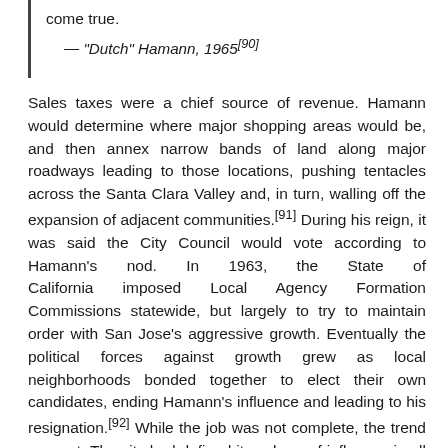to do everything in my power to make that come true.
— "Dutch" Hamann, 1965[90]
Sales taxes were a chief source of revenue. Hamann would determine where major shopping areas would be, and then annex narrow bands of land along major roadways leading to those locations, pushing tentacles across the Santa Clara Valley and, in turn, walling off the expansion of adjacent communities.[91] During his reign, it was said the City Council would vote according to Hamann's nod. In 1963, the State of California imposed Local Agency Formation Commissions statewide, but largely to try to maintain order with San Jose's aggressive growth. Eventually the political forces against growth grew as local neighborhoods bonded together to elect their own candidates, ending Hamann's influence and leading to his resignation.[92] While the job was not complete, the trend was set. The city had defined its sphere of influence in all directions, sometimes chaotically leaving unincorporated pockets to be swallowed up by the behemoth, sometimes even at the objection of the residents.[88]